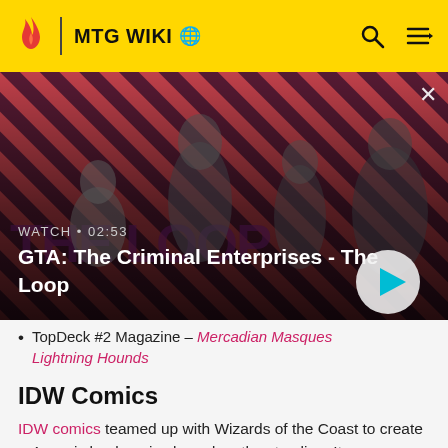MTG WIKI
[Figure (screenshot): GTA: The Criminal Enterprises - The Loop video thumbnail with characters on striped red and dark background, with play button overlay. Duration: 02:53]
TopDeck #2 Magazine – Mercadian Masques Lightning Hounds
IDW Comics
IDW comics teamed up with Wizards of the Coast to create a 4-comic book series based on the storyline. It